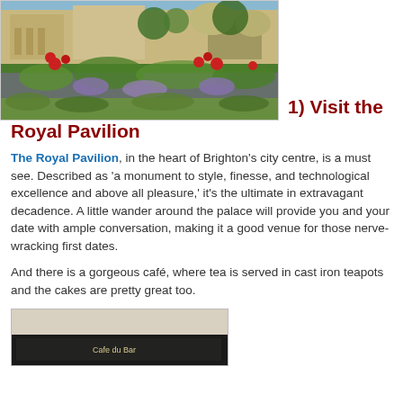[Figure (photo): Photograph of a historic building (Royal Pavilion area) with a colorful garden in the foreground featuring red flowers and purple/blue flowering plants]
1) Visit the Royal Pavilion
The Royal Pavilion, in the heart of Brighton's city centre, is a must see. Described as 'a monument to style, finesse, and technological excellence and above all pleasure,' it's the ultimate in extravagant decadence. A little wander around the palace will provide you and your date with ample conversation, making it a good venue for those nerve-wracking first dates.
And there is a gorgeous café, where tea is served in cast iron teapots and the cakes are pretty great too.
[Figure (photo): Partial photo of a chalkboard sign reading 'Cafe du Bar' in a café setting]